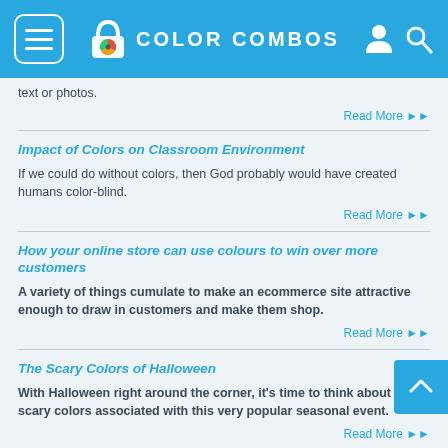COLOR COMBOS
text or photos.
Impact of Colors on Classroom Environment
If we could do without colors, then God probably would have created humans color-blind.
How your online store can use colours to win over more customers
A variety of things cumulate to make an ecommerce site attractive enough to draw in customers and make them shop.
The Scary Colors of Halloween
With Halloween right around the corner, it's time to think about the scary colors associated with this very popular seasonal event.